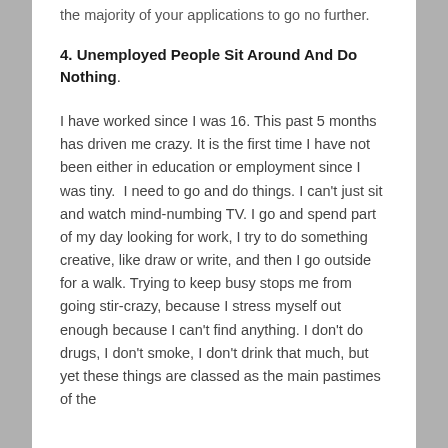the majority of your applications to go no further.
4. Unemployed People Sit Around And Do Nothing.
I have worked since I was 16. This past 5 months has driven me crazy. It is the first time I have not been either in education or employment since I was tiny.  I need to go and do things. I can't just sit and watch mind-numbing TV. I go and spend part of my day looking for work, I try to do something creative, like draw or write, and then I go outside for a walk. Trying to keep busy stops me from going stir-crazy, because I stress myself out enough because I can't find anything. I don't do drugs, I don't smoke, I don't drink that much, but yet these things are classed as the main pastimes of the